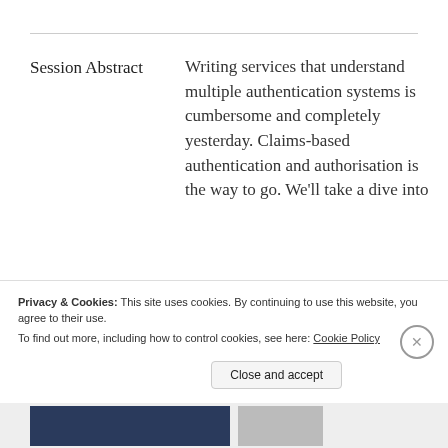Session Abstract
Writing services that understand multiple authentication systems is cumbersome and completely yesterday. Claims-based authentication and authorisation is the way to go. We'll take a dive into
Privacy & Cookies: This site uses cookies. By continuing to use this website, you agree to their use.
To find out more, including how to control cookies, see here: Cookie Policy